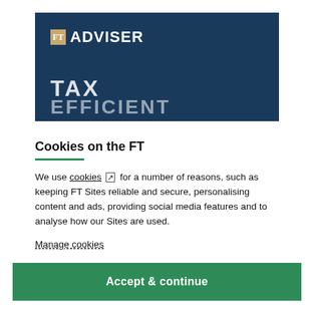[Figure (screenshot): FT Adviser banner with dark blue background showing 'FT ADVISER' logo at top and 'TAX EFFICIENT' text below in large white letters]
Cookies on the FT
We use cookies [external link icon] for a number of reasons, such as keeping FT Sites reliable and secure, personalising content and ads, providing social media features and to analyse how our Sites are used.
Manage cookies
Accept & continue